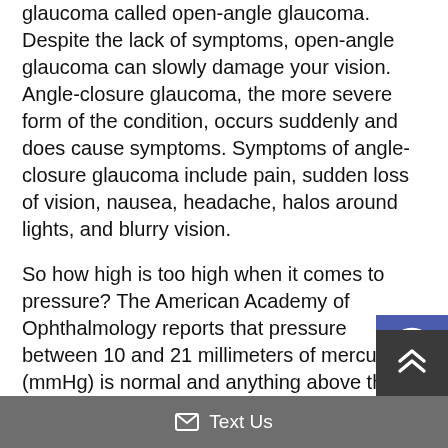glaucoma called open-angle glaucoma. Despite the lack of symptoms, open-angle glaucoma can slowly damage your vision. Angle-closure glaucoma, the more severe form of the condition, occurs suddenly and does cause symptoms. Symptoms of angle-closure glaucoma include pain, sudden loss of vision, nausea, headache, halos around lights, and blurry vision.
So how high is too high when it comes to pressure? The American Academy of Ophthalmology reports that pressure between 10 and 21 millimeters of mercury (mmHg) is normal and anything above tha
[Figure (other): Accessibility icon button - blue/indigo square with white wheelchair accessibility symbol (person in circle)]
[Figure (other): Scroll-to-top button - dark grey square with white upward chevron arrows]
✉ Text Us